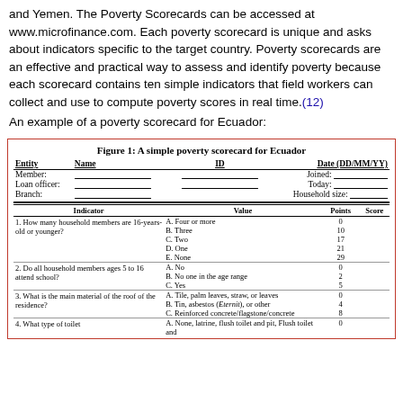and Yemen. The Poverty Scorecards can be accessed at www.microfinance.com. Each poverty scorecard is unique and asks about indicators specific to the target country. Poverty scorecards are an effective and practical way to assess and identify poverty because each scorecard contains ten simple indicators that field workers can collect and use to compute poverty scores in real time.(12)
An example of a poverty scorecard for Ecuador:
[Figure (table-as-image): Figure 1: A simple poverty scorecard for Ecuador - a form table with entity/name/ID/date header fields, and a scorecard table with Indicator, Value, Points, Score columns showing 4 indicators about household members.]
| Indicator | Value | Points | Score |
| --- | --- | --- | --- |
| 1. How many household members are 16-years-old or younger? | A. Four or more
B. Three
C. Two
D. One
E. None | 0
10
17
21
29 |  |
| 2. Do all household members ages 5 to 16 attend school? | A. No
B. No one in the age range
C. Yes | 0
2
5 |  |
| 3. What is the main material of the roof of the residence? | A. Tile, palm leaves, straw, or leaves
B. Tin, asbestos (Eternit), or other
C. Reinforced concrete/flagstone/concrete | 0
4
8 |  |
| 4. What type of toilet | A. None, latrine, flush toilet and pit, Flush toilet and other | 0 |  |